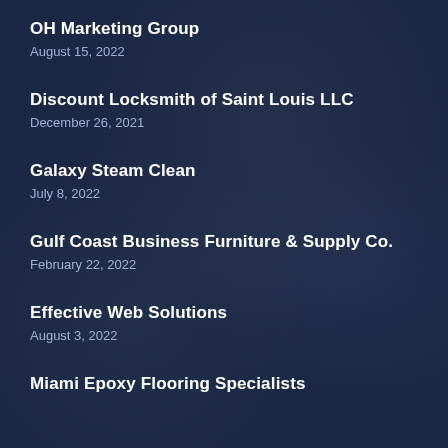OH Marketing Group
August 15, 2022
Discount Locksmith of Saint Louis LLC
December 26, 2021
Galaxy Steam Clean
July 8, 2022
Gulf Coast Business Furniture & Supply Co.
February 22, 2022
Effective Web Solutions
August 3, 2022
Miami Epoxy Flooring Specialists